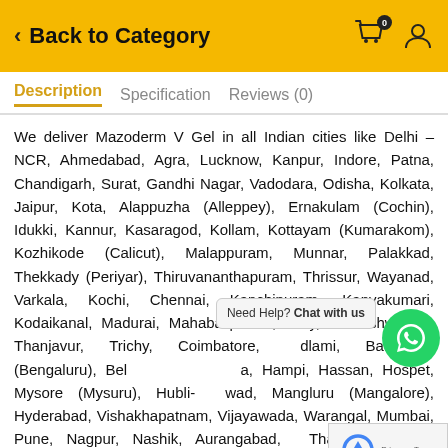Back to Category
Description   Specification   Reviews (0)
We deliver Mazoderm V Gel in all Indian cities like Delhi – NCR, Ahmedabad, Agra, Lucknow, Kanpur, Indore, Patna, Chandigarh, Surat, Gandhi Nagar, Vadodara, Odisha, Kolkata, Jaipur, Kota, Alappuzha (Alleppey), Ernakulam (Cochin), Idukki, Kannur, Kasaragod, Kollam, Kottayam (Kumarakom), Kozhikode (Calicut), Malappuram, Munnar, Palakkad, Thekkady (Periyar), Thiruvananthapuram, Thrissur, Wayanad, Varkala, Kochi, Chennai, Kanchipuram, Kanyakumari, Kodaikanal, Madurai, Mahabalipuram, Ooty, Rameshwaram, Thanjavur, Trichy, Coimbatore, Kodlami, Bangalore (Bengaluru), Belur, Need Help? Chat with us, Hampi, Hassan, Hospet, Mysore (Mysuru), Hubli-Dharwad, Mangluru (Mangalore), Hyderabad, Vishakhapatnam, Vijayawada, Warangal, Mumbai, Pune, Nagpur, Nashik, Aurangabad, Thane, Bhiwandi, Amravati, Malegaon, Kolhapur, Nanded, Akola, Ahmadnagar, Dhule, Parbhani, Jalna, Bhusawal, Mumbai, Panvel etc.